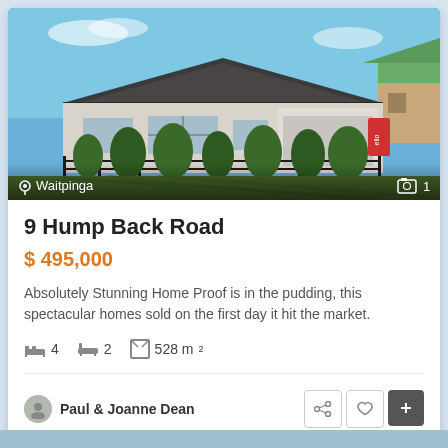[Figure (photo): Exterior photo of a single-storey house with dark tile roof, white facade, iron fence, garden plants, blue sky. Location label 'Waitpinga' and camera icon '1' overlay at bottom.]
9 Hump Back Road
$ 495,000
Absolutely Stunning Home Proof is in the pudding, this spectacular homes sold on the first day it hit the market.
4 bedrooms, 2 bathrooms, 528 m²
Paul & Joanne Dean